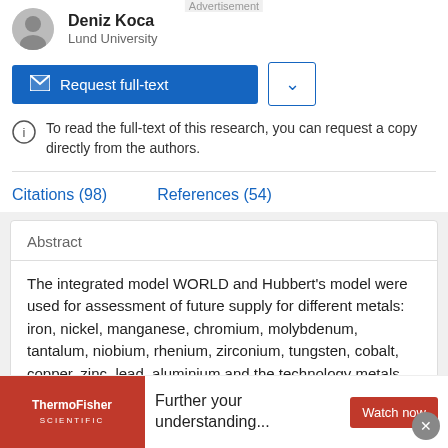Deniz Koca
Lund University
Request full-text
To read the full-text of this research, you can request a copy directly from the authors.
Citations (98)   References (54)
Abstract
The integrated model WORLD and Hubbert's model were used for assessment of future supply for different metals: iron, nickel, manganese, chromium, molybdenum, tantalum, niobium, rhenium, zirconium, tungsten, cobalt, copper, zinc, lead, aluminium and the technology metals derived from copper, zinc
[Figure (other): ThermoFisher Scientific advertisement banner with text 'Further your understanding...' and 'Watch now' button]